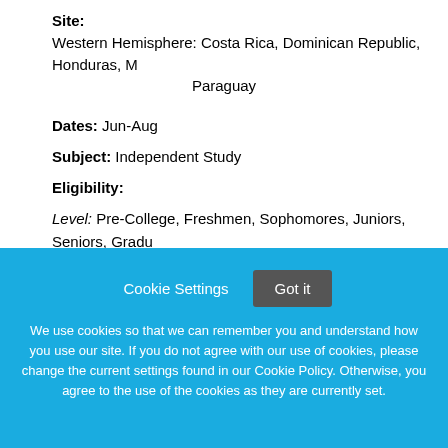Site: Western Hemisphere: Costa Rica, Dominican Republic, Honduras, M... Paraguay
Dates: Jun-Aug
Subject: Independent Study
Eligibility:
Level: Pre-College, Freshmen, Sophomores, Juniors, Seniors, Gradu...
Requires: completion of min 2 yrs high sch Spanish or equiv
Age Min: 16
Credit:
Cookie Settings  Got it
We use cookies so that we can remember you and understand how you use our site. If you do not agree with our use of cookies, please change the current settings found in our Cookie Policy. Otherwise, you agree to the use of the cookies as they are currently set.